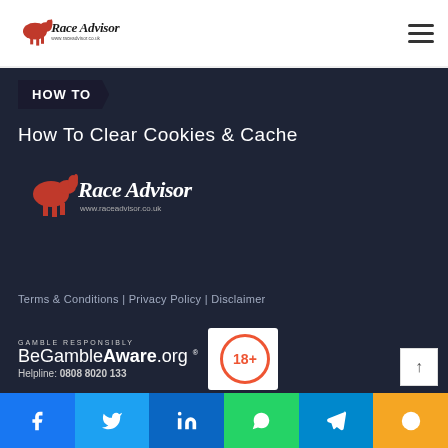Race Advisor — www.raceadvisor.co.uk
HOW TO
How To Clear Cookies & Cache
[Figure (logo): Race Advisor logo on dark background]
Terms & Conditions | Privacy Policy | Disclaimer
[Figure (logo): BeGambleAware.org logo with 18+ badge. GAMBLE RESPONSIBLY. Helpline: 0808 8020 133]
Facebook | Twitter | LinkedIn | WhatsApp | Telegram | Help